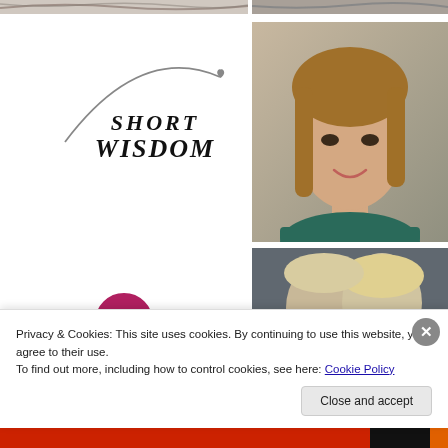[Figure (photo): Top partial strip of a photo on left side]
[Figure (photo): Top partial strip of a photo on right side]
[Figure (logo): Short Wisdom logo: curved arch line with a small heart, text SHORT WISDOM in italic serif font]
[Figure (photo): Portrait photo of a young woman with long brown hair, smiling, wearing a dark teal top]
[Figure (photo): Photo of two women with blonde hair, appears to be older and younger woman together]
[Figure (logo): Small circular Short Wisdom logo]
Privacy & Cookies: This site uses cookies. By continuing to use this website, you agree to their use.
To find out more, including how to control cookies, see here: Cookie Policy
Close and accept